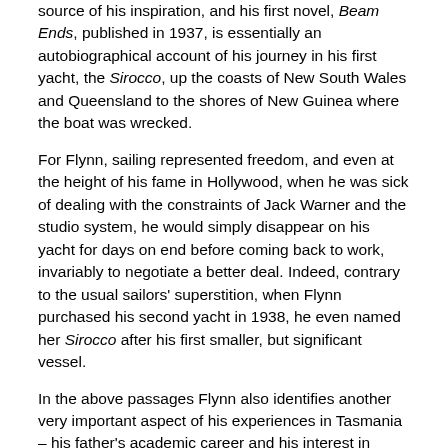source of his inspiration, and his first novel, Beam Ends, published in 1937, is essentially an autobiographical account of his journey in his first yacht, the Sirocco, up the coasts of New South Wales and Queensland to the shores of New Guinea where the boat was wrecked.
For Flynn, sailing represented freedom, and even at the height of his fame in Hollywood, when he was sick of dealing with the constraints of Jack Warner and the studio system, he would simply disappear on his yacht for days on end before coming back to work, invariably to negotiate a better deal. Indeed, contrary to the usual sailors' superstition, when Flynn purchased his second yacht in 1938, he even named her Sirocco after his first smaller, but significant vessel.
In the above passages Flynn also identifies another very important aspect of his experiences in Tasmania – his father's academic career and his interest in Tasmanian devils, Tasmanian tigers and the diversity of creatures to be found in the oceans around Tasmania.
The rapport was with my father... When school finished, I raced home to be at his side, to hurry out into the back...